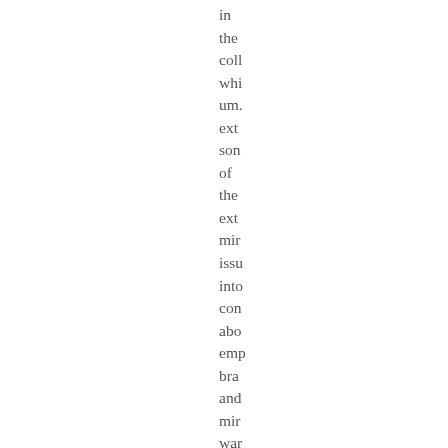in the coll whi um. ext son of the ext mir issu into con abo emp bra and mir war in earl mo